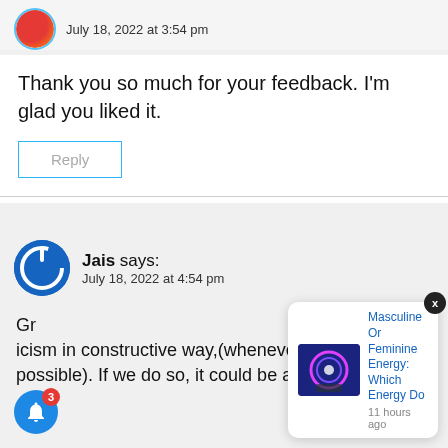July 18, 2022 at 3:54 pm
Thank you so much for your feedback. I'm glad you liked it.
Reply
Jais says:
July 18, 2022 at 4:54 pm
Great point ... icism in constructive way,(whenever possible). If we do so, it could be a stepping
Masculine Or Feminine Energy: Which Energy Do
11 hours ago